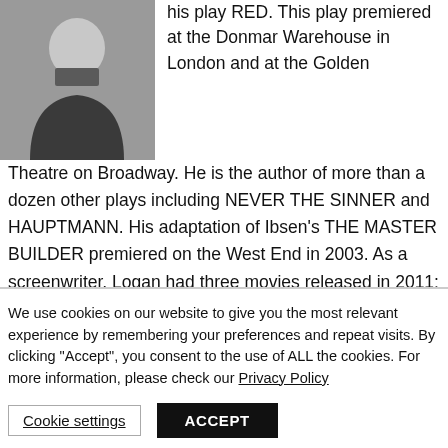[Figure (photo): Portrait photo of a person in a dark jacket against a light background]
his play RED. This play premiered at the Donmar Warehouse in London and at the Golden Theatre on Broadway. He is the author of more than a dozen other plays including NEVER THE SINNER and HAUPTMANN. His adaptation of Ibsen's THE MASTER BUILDER premiered on the West End in 2003. As a screenwriter, Logan had three movies released in 2011: HUGO, CORIOLANUS and RANGO. Previous film work includes SWEENEY TODD (Golden Globe award); THE
We use cookies on our website to give you the most relevant experience by remembering your preferences and repeat visits. By clicking "Accept", you consent to the use of ALL the cookies. For more information, please check our Privacy Policy
Cookie settings
ACCEPT